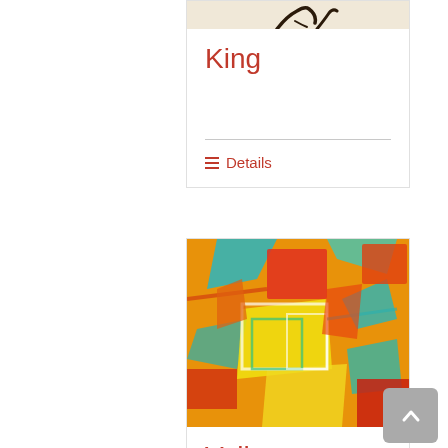[Figure (photo): Cropped top portion of an artwork or calligraphic image on beige/tan background, showing dark curved brush strokes]
King
Details
[Figure (photo): Colorful abstract painting with orange, yellow, teal, red and white brushstrokes forming abstract shapes]
Valley of the